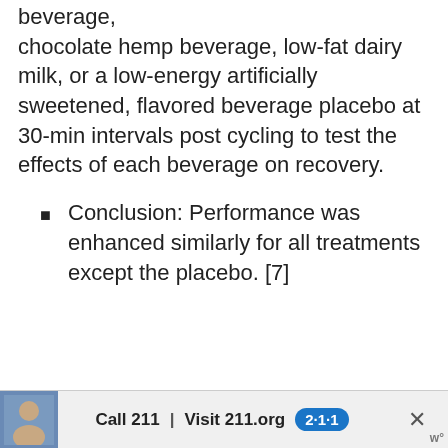beverage, chocolate hemp beverage, low-fat dairy milk, or a low-energy artificially sweetened, flavored beverage placebo at 30-min intervals post cycling to test the effects of each beverage on recovery.
Conclusion: Performance was enhanced similarly for all treatments except the placebo. [7]